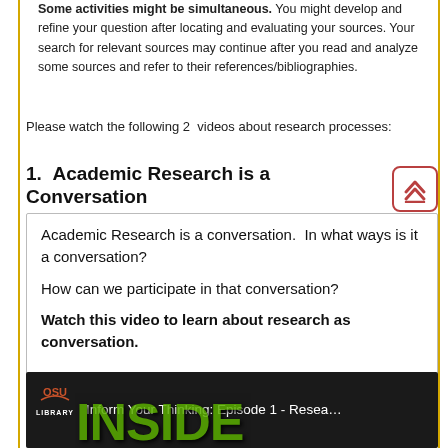Some activities might be simultaneous. You might develop and refine your question after locating and evaluating your sources. Your search for relevant sources may continue after you read and analyze some sources and refer to their references/bibliographies.
Please watch the following 2 videos about research processes:
1.  Academic Research is a Conversation
Academic Research is a conversation.  In what ways is it a conversation?

How can we participate in that conversation?

Watch this video to learn about research as conversation.
[Figure (screenshot): Video thumbnail for 'Inform Your Thinking: Episode 1 - Research as Conversation' from OSU Library, with green letters in the background.]